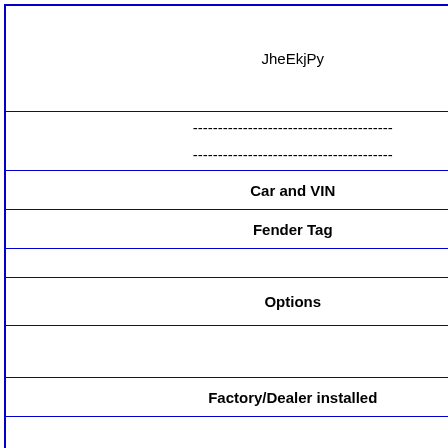| JheEkjPy | fqhp... |
| ----------------------------------------
---------------------------------------- |  |
| Car and VIN |  |
| Fender Tag |  |
|  |  |
| Options | C... |
|  | None... |
| Factory/Dealer installed | Broadcas... |
| rxvmfwzQuhIpkOX | Kfydek... |
| ----------------------------------------
---------------------------------------- |  |
| Car and VIN |  |